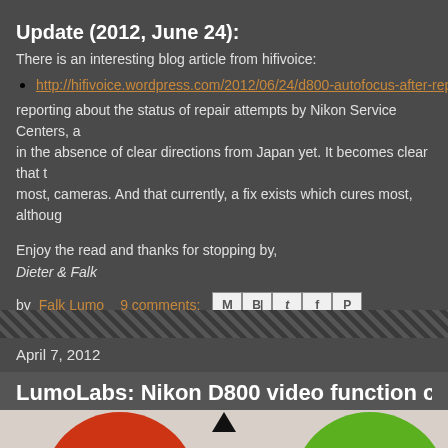Update (2012, June 24):
There is an interesting blog article from hifivoice:
http://hifivoice.wordpress.com/2012/06/24/d800-autofocus-after-rep…
reporting about the status of repair attempts by Nikon Service Centers, a… in the absence of clear directions from Japan yet. It becomes clear that t… most, cameras. And that currently, a fix exists which cures most, althoug…
Enjoy the read and thanks for stopping by,
Dieter & Falk
by Falk Lumo   9 comments:
April 7, 2012
LumoLabs: Nikon D800 video function c…
[Figure (photo): Partial view of circular targets — red circle on left, green circle on right with a black triangle marker above center, on a light background]